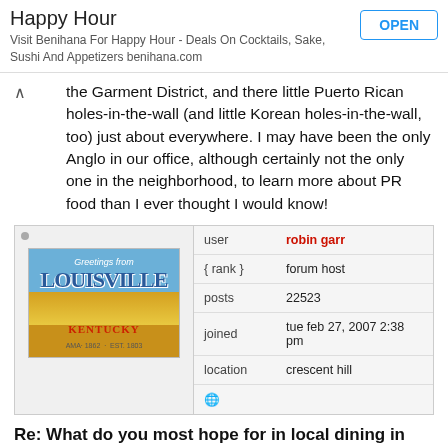Happy Hour
Visit Benihana For Happy Hour - Deals On Cocktails, Sake, Sushi And Appetizers benihana.com
the Garment District, and there little Puerto Rican holes-in-the-wall (and little Korean holes-in-the-wall, too) just about everywhere. I may have been the only Anglo in our office, although certainly not the only one in the neighborhood, to learn more about PR food than I ever thought I would know!
| field | value |
| --- | --- |
| user | robin garr |
| { rank } | forum host |
| posts | 22523 |
| joined | tue feb 27, 2007 2:38 pm |
| location | crescent hill |
Re: What do you most hope for in local dining in '14? Go!
by Robin Garr » Tue Dec 31, 2013 12:09 pm